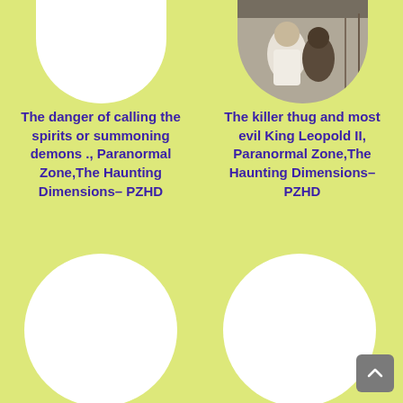[Figure (photo): White circle (partially cropped at top), top-left card]
[Figure (photo): Black and white circular photo showing two figures, one in white dress, one darker figure behind, top-right card]
The danger of calling the spirits or summoning demons ., Paranormal Zone,The Haunting Dimensions– PZHD
The killer thug and most evil King Leopold II, Paranormal Zone,The Haunting Dimensions– PZHD
[Figure (illustration): White circle, bottom-left card]
[Figure (illustration): White circle, bottom-right card]